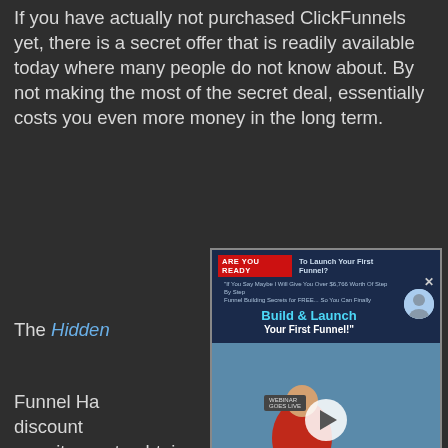If you have actually not purchased ClickFunnels yet, there is a secret offer that is readily available today where many people do not know about. By not making the most of the secret deal, essentially costs you even more money in the long term.
The Hidd[en] Secret.
[Figure (screenshot): A popup/overlay showing a ClickFunnels promotional video. Header reads 'ARE YOU READY To Launch Your First Funnel?' with a subheading about giving step-by-step funnel building secrets for free. Main title reads 'Build & Launch Your First Funnel!' Video area shows a person in a red shirt with a play button overlay and a 'CLICK TO TURN ON SOUND' button.]
Funnel Ha[cks Secret is not a bonus] or discount [for ClickFunnels. The avail]able offer permits you to obtain extraordinary bonuses and assists you to succeed even faster with ClickFunnels if you implement them.
Purchasing Funnel Hacks Secret will assist you to save on your ClickFunnels